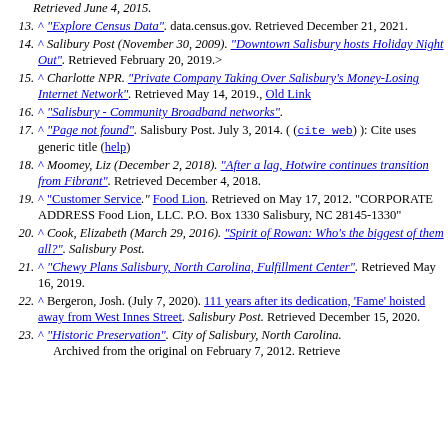13. ^ "Explore Census Data". data.census.gov. Retrieved December 21, 2021.
14. ^ Salibury Post (November 30, 2009). "Downtown Salisbury hosts Holiday Night Out". Retrieved February 20, 2019.>
15. ^ Charlotte NPR. "Private Company Taking Over Salisbury's Money-Losing Internet Network". Retrieved May 14, 2019., Old Link
16. ^ "Salisbury - Community Broadband networks".
17. ^ "Page not found". Salisbury Post. July 3, 2014. ((cite web)): Cite uses generic title (help)
18. ^ Moomey, Liz (December 2, 2018). "After a lag, Hotwire continues transition from Fibrant". Retrieved December 4, 2018.
19. ^ "Customer Service." Food Lion. Retrieved on May 17, 2012. "CORPORATE ADDRESS Food Lion, LLC. P.O. Box 1330 Salisbury, NC 28145-1330"
20. ^ Cook, Elizabeth (March 29, 2016). "Spirit of Rowan: Who's the biggest of them all?". Salisbury Post.
21. ^ "Chewy Plans Salisbury, North Carolina, Fulfillment Center". Retrieved May 16, 2019.
22. ^ Bergeron, Josh. (July 7, 2020). 111 years after its dedication, 'Fame' hoisted away from West Innes Street. Salisbury Post. Retrieved December 15, 2020.
23. ^ "Historic Preservation". City of Salisbury, North Carolina. Archived from the original on February 7, 2012. Retrieved...